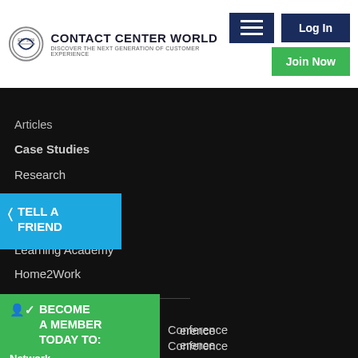Contact Center World | Discover The Next Generation Of Customer Experience
Articles
Case Studies
Research
Benchmarking
Buyers Guide
Learning Academy
Home2Work
Industry Social
TELL A FRIEND
Conference
Conference
Conference
Conference
n Best
t Center
BECOME A MEMBER TODAY TO:
Network
Post Content
Enter Awards
+ Much More